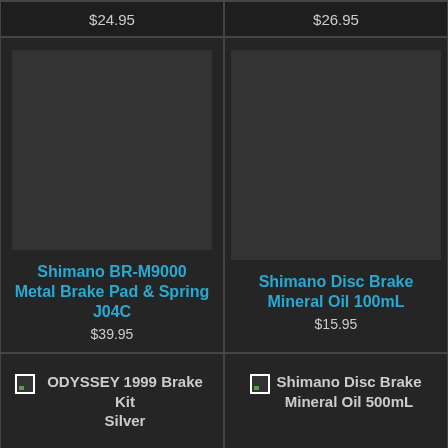$24.95
$26.95
[Figure (photo): Product image placeholder for Shimano BR-M9000 Metal Brake Pad & Spring J04C]
Shimano BR-M9000 Metal Brake Pad & Spring J04C
$39.95
[Figure (photo): Product image placeholder for Shimano Disc Brake Mineral Oil 100mL]
Shimano Disc Brake Mineral Oil 100mL
$15.95
ODYSSEY 1999 Brake Kit Silver
Shimano Disc Brake Mineral Oil 500mL